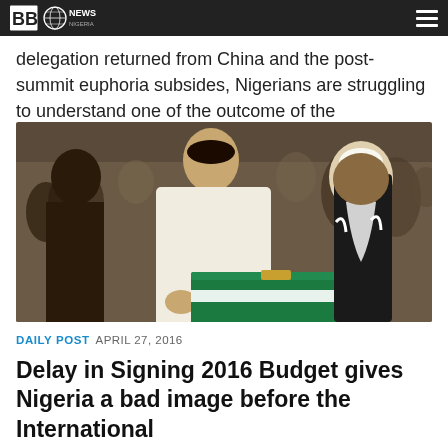BBC/NEWS logo and hamburger menu
delegation returned from China and the post-summit euphoria subsides, Nigerians are struggling to understand one of the outcome of the engagement between the two nations: the...
[Figure (photo): Photo of Nigerian officials, including a man in white robes presenting a green and white briefcase/box at what appears to be a formal government event, with other officials in traditional attire watching.]
DAILY POST  APRIL 27, 2016
Delay in Signing 2016 Budget gives Nigeria a bad image before the International